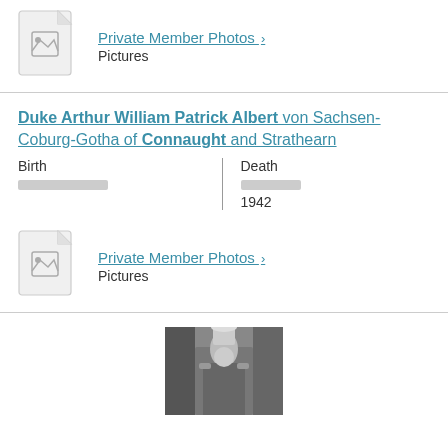[Figure (other): Document/file icon placeholder for private member photos]
Private Member Photos > Pictures
Duke Arthur William Patrick Albert von Sachsen-Coburg-Gotha of Connaught and Strathearn
Birth [private] Death [private] 1942
[Figure (other): Document/file icon placeholder for private member photos]
Private Member Photos > Pictures
[Figure (photo): Black and white portrait photograph of a person in military uniform with a tall white plumed hat]